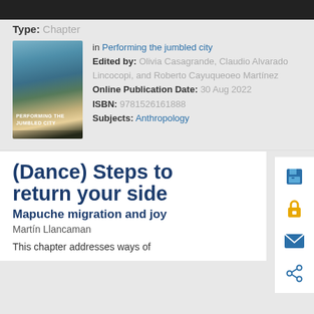[Figure (illustration): Dark header bar at top of page, partially visible]
Type: Chapter
[Figure (photo): Book cover of 'Performing the Jumbled City' showing people in an outdoor urban setting]
in Performing the jumbled city
Edited by: Olivia Casagrande, Claudio Alvarado Lincocopi, and Roberto Cayuqueoeo Martínez
Online Publication Date: 30 Aug 2022
ISBN: 9781526161888
Subjects: Anthropology
(Dance) Steps to return your side
Mapuche migration and joy
Martín Llancaman
This chapter addresses ways of